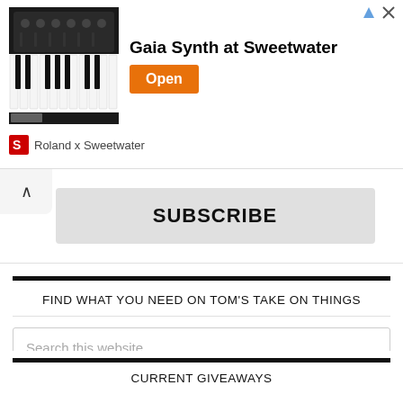[Figure (screenshot): Advertisement banner for Roland Gaia Synth at Sweetwater, showing a synthesizer keyboard image, text 'Gaia Synth at Sweetwater', an orange 'Open' button, and 'Roland x Sweetwater' branding.]
SUBSCRIBE
FIND WHAT YOU NEED ON TOM'S TAKE ON THINGS
Search this website
CURRENT GIVEAWAYS